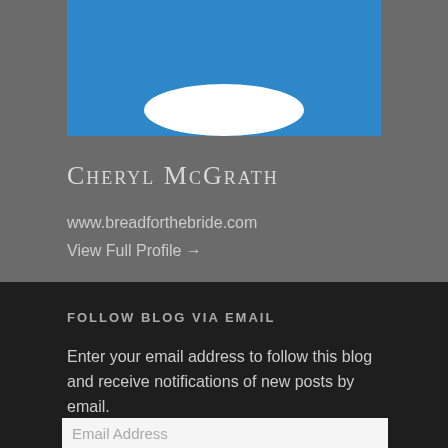[Figure (photo): Blue background profile image area with a white oval/plate shape at the bottom, representing a blog author avatar cropped at the top]
Cheryl McGrath
www.breadforthebride.com
View Full Profile →
FOLLOW BLOG VIA EMAIL
Enter your email address to follow this blog and receive notifications of new posts by email.
Email Address